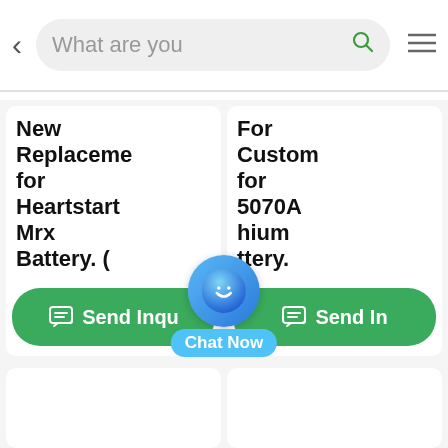[Figure (screenshot): Mobile app navigation bar with back arrow, search box showing 'What are you', green search icon, and hamburger menu icon]
New Replaceme for Heartstart Mrx Battery. (
For Custom for 5070A hium ttery.
[Figure (illustration): Blue circular chat bot icon with smiling face, labeled 'Chat Now' below]
Send Inqu
Send In